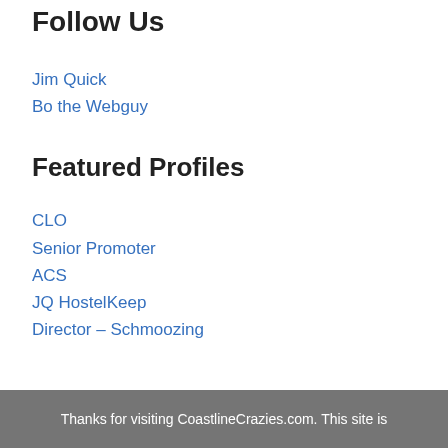Follow Us
Jim Quick
Bo the Webguy
Featured Profiles
CLO
Senior Promoter
ACS
JQ HostelKeep
Director – Schmoozing
Thanks for visiting CoastlineCrazies.com. This site is